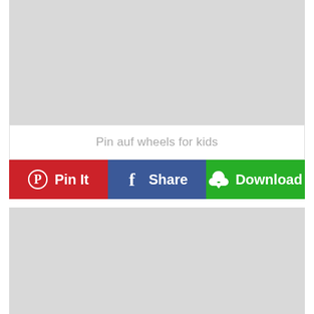[Figure (other): Gray placeholder image block at top]
Pin auf wheels for kids
[Figure (infographic): Social share button row with Pin It (red/Pinterest), Share (blue/Facebook), and Download (green) buttons]
[Figure (other): Gray placeholder image block at bottom]